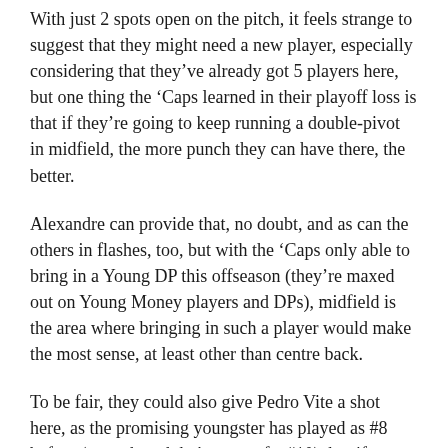With just 2 spots open on the pitch, it feels strange to suggest that they might need a new player, especially considering that they've already got 5 players here, but one thing the 'Caps learned in their playoff loss is that if they're going to keep running a double-pivot in midfield, the more punch they can have there, the better.
Alexandre can provide that, no doubt, and as can the others in flashes, too, but with the 'Caps only able to bring in a Young DP this offseason (they're maxed out on Young Money players and DPs), midfield is the area where bringing in such a player would make the most sense, at least other than centre back.
To be fair, they could also give Pedro Vite a shot here, as the promising youngster has played as #8 before (even though he's more of a #10), but if not, going via the Young DP route would make a lot of sense.